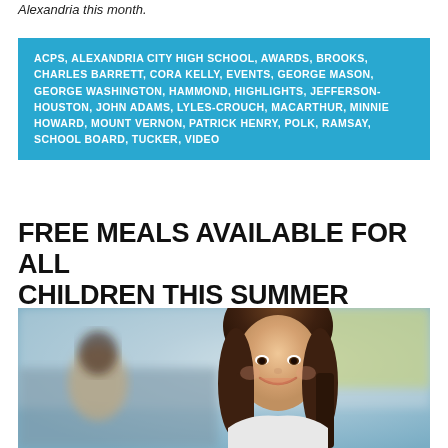Alexandria this month.
ACPS, ALEXANDRIA CITY HIGH SCHOOL, AWARDS, BROOKS, CHARLES BARRETT, CORA KELLY, EVENTS, GEORGE MASON, GEORGE WASHINGTON, HAMMOND, HIGHLIGHTS, JEFFERSON-HOUSTON, JOHN ADAMS, LYLES-CROUCH, MACARTHUR, MINNIE HOWARD, MOUNT VERNON, PATRICK HENRY, POLK, RAMSAY, SCHOOL BOARD, TUCKER, VIDEO
FREE MEALS AVAILABLE FOR ALL CHILDREN THIS SUMMER
[Figure (photo): A smiling young girl with long dark hair in a school or cafeteria setting, with other children blurred in the background.]